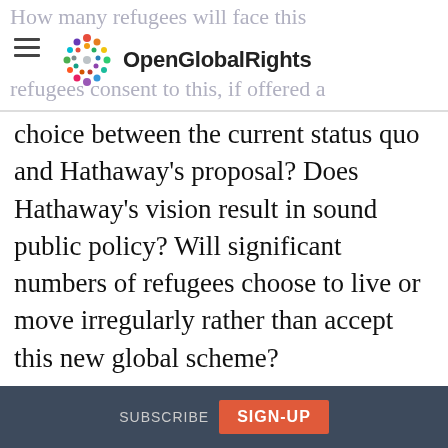How many refugees will face this recurring [OpenGlobalRights logo] refugees consent to this, if offered a
choice between the current status quo and Hathaway’s proposal? Does Hathaway’s vision result in sound public policy? Will significant numbers of refugees choose to live or move irregularly rather than accept this new global scheme?
It’s hard to imagine that refugees who anticipate upheaval after seven years will invest in their host communities—learn the local language, grow a business and create jobs—if faced with the
SUBSCRIBE  SIGN-UP